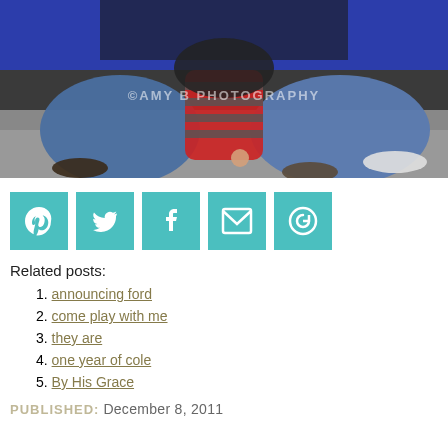[Figure (photo): Family photo showing adults seated cross-legged on pavement with a small child in red striped pants between them, blue wall in background. Watermark reads ©AMY B PHOTOGRAPHY.]
[Figure (infographic): Row of 5 teal/turquoise social sharing buttons: Pinterest, Twitter, Facebook, Email, and a circular arrow/share icon.]
Related posts:
1. announcing ford
2. come play with me
3. they are
4. one year of cole
5. By His Grace
PUBLISHED: December 8, 2011